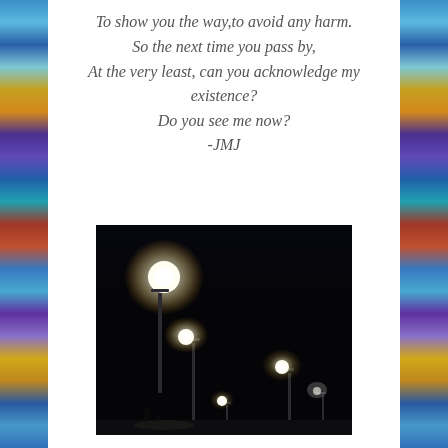To show you the way,to avoid any harm.
So the next time you pass by,
At the very least, can you acknowledge my existence?
Do you see me now?
-JMJ
[Figure (photo): Night photograph showing multiple street lamps glowing brightly against a dark black sky, with lamp posts visible and small figures at the bottom edge.]